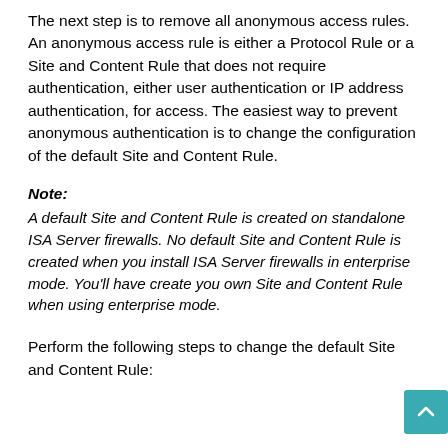The next step is to remove all anonymous access rules. An anonymous access rule is either a Protocol Rule or a Site and Content Rule that does not require authentication, either user authentication or IP address authentication, for access. The easiest way to prevent anonymous authentication is to change the configuration of the default Site and Content Rule.
Note:
A default Site and Content Rule is created on standalone ISA Server firewalls. No default Site and Content Rule is created when you install ISA Server firewalls in enterprise mode. You'll have create you own Site and Content Rule when using enterprise mode.
Perform the following steps to change the default Site and Content Rule: